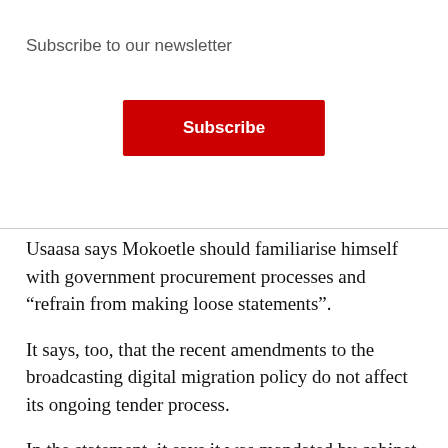Subscribe to our newsletter
Subscribe
Usaasa says Mokoetle should familiarise himself with government procurement processes and “refrain from making loose statements”.
It says, too, that the recent amendments to the broadcasting digital migration policy do not affect its ongoing tender process.
In the statement, it says it was mandated by cabinet in 2012 with conducting the procurement process and a shift in the project mandate to the department of communications does not necessitate a shift in funds. —